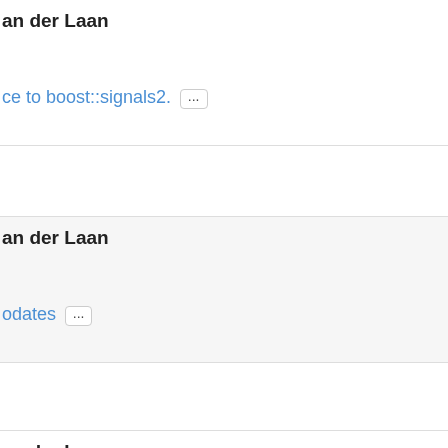an der Laan
ce to boost::signals2. ...
10 years ago
an der Laan
odates ...
10 years ago
an der Laan